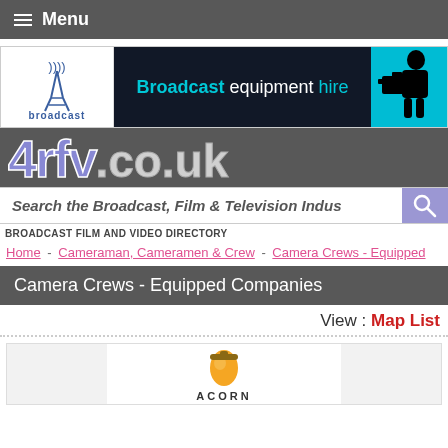Menu
[Figure (illustration): Broadcast Services equipment hire banner ad with logo and cameraman silhouette]
[Figure (logo): 4rfv.co.uk site logo in purple and grey on dark background]
Search the Broadcast, Film & Television Industry
BROADCAST FILM AND VIDEO DIRECTORY
Home - Cameraman, Cameramen & Crew - Camera Crews - Equipped
Camera Crews - Equipped Companies
View : Map List
[Figure (logo): Acorn company logo partial view at bottom of page]